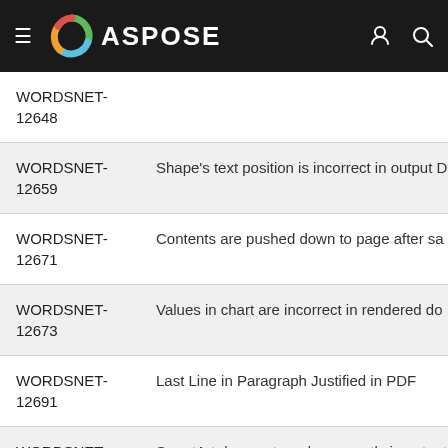ASPOSE
| ID | Description |
| --- | --- |
| WORDSNET-12648 |  |
| WORDSNET-12659 | Shape's text position is incorrect in output D… |
| WORDSNET-12671 | Contents are pushed down to page after sa… |
| WORDSNET-12673 | Values in chart are incorrect in rendered do… |
| WORDSNET-12691 | Last Line in Paragraph Justified in PDF |
| WORDSNET-12706 | SmartArt does not render correctly in output format |